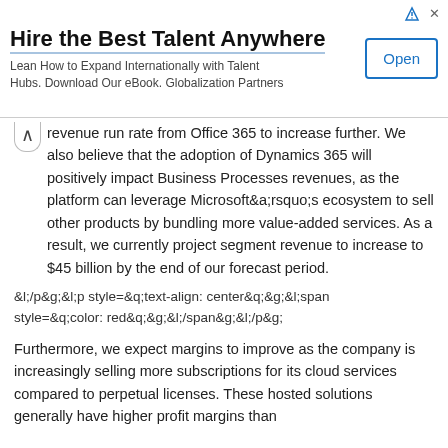[Figure (other): Advertisement banner: 'Hire the Best Talent Anywhere. Lean How to Expand Internationally with Talent Hubs. Download Our eBook. Globalization Partners' with an 'Open' button]
revenue run rate from Office 365 to increase further. We also believe that the adoption of Dynamics 365 will positively impact Business Processes revenues, as the platform can leverage Microsoft&a;rsquo;s ecosystem to sell other products by bundling more value-added services. As a result, we currently project segment revenue to increase to $45 billion by the end of our forecast period.
&l;/p&g;&l;p style=&q;text-align: center&q;&g;&l;span style=&q;color: red&q;&g;&l;/span&g;&l;/p&g;
Furthermore, we expect margins to improve as the company is increasingly selling more subscriptions for its cloud services compared to perpetual licenses. These hosted solutions generally have higher profit margins than